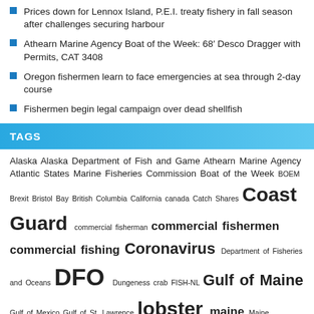Prices down for Lennox Island, P.E.I. treaty fishery in fall season after challenges securing harbour
Athearn Marine Agency Boat of the Week: 68' Desco Dragger with Permits, CAT 3408
Oregon fishermen learn to face emergencies at sea through 2-day course
Fishermen begin legal campaign over dead shellfish
TAGS
Alaska Alaska Department of Fish and Game Athearn Marine Agency Atlantic States Marine Fisheries Commission Boat of the Week BOEM Brexit Bristol Bay British Columbia California canada Catch Shares Coast Guard commercial fisherman commercial fishermen commercial fishing Coronavirus Department of Fisheries and Oceans DFO Dungeness crab FISH-NL Gulf of Maine Gulf of Mexico Gulf of St. Lawrence lobster maine Maine Department of Marine Resources massachusetts National Marine Fisheries Service new-england-fishery-management-council Newfoundland and Labrador NMFS NOAA North Atlantic right whale North